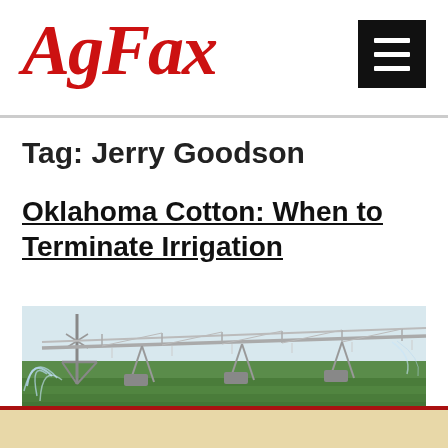AgFax
Tag: Jerry Goodson
Oklahoma Cotton: When to Terminate Irrigation
[Figure (photo): Center pivot irrigation system spraying water over a green cotton field, extending into the distance under a pale sky.]